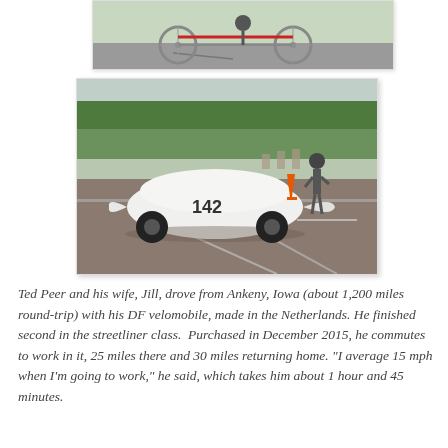[Figure (photo): Top portion of a photo showing a bicycle or velomobile on pavement, partially cropped]
[Figure (photo): A white aerodynamic velomobile numbered 142 on a race track/parking lot surface, with a person standing nearby and an orange traffic cone visible in the background. Trees visible in the background.]
Ted Peer and his wife, Jill, drove from Ankeny, Iowa (about 1,200 miles round-trip) with his DF velomobile, made in the Netherlands. He finished second in the streetliner class.  Purchased in December 2015, he commutes to work in it, 25 miles there and 30 miles returning home. "I average 15 mph when I'm going to work," he said, which takes him about 1 hour and 45 minutes.